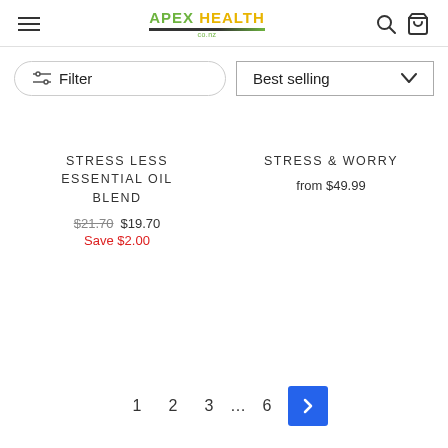APEX HEALTH - Navigation header with hamburger menu, logo, search and cart icons
Filter | Best selling
STRESS LESS ESSENTIAL OIL BLEND — $21.70  $19.70  Save $2.00
STRESS & WORRY — from $49.99
1  2  3  ...  6  >